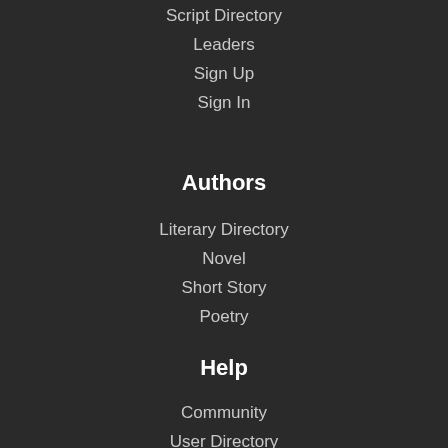Script Directory
Leaders
Sign Up
Sign In
Authors
Literary Directory
Novel
Short Story
Poetry
Help
Community
User Directory